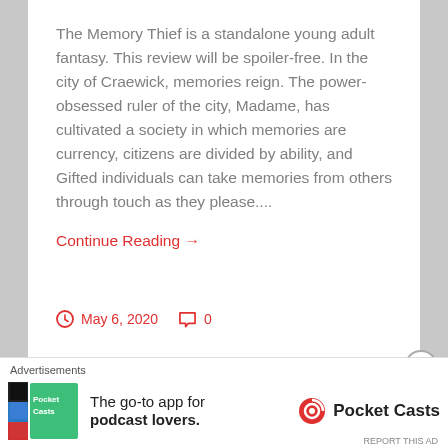The Memory Thief is a standalone young adult fantasy. This review will be spoiler-free. In the city of Craewick, memories reign. The power-obsessed ruler of the city, Madame, has cultivated a society in which memories are currency, citizens are divided by ability, and Gifted individuals can take memories from others through touch as they please....
Continue Reading →
May 6, 2020   0
Advertisements
The go-to app for podcast lovers.   Pocket Casts